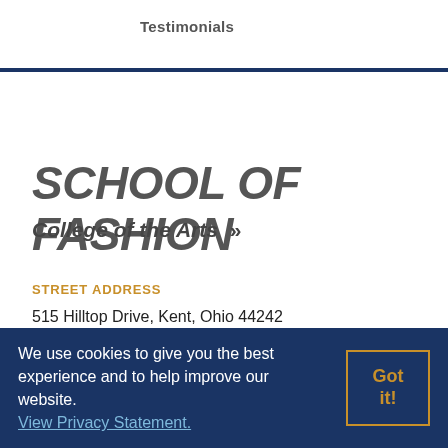Testimonials
SCHOOL OF FASHION
College of the Arts »
STREET ADDRESS
515 Hilltop Drive, Kent, Ohio 44242
MAILING ADDRESS
We use cookies to give you the best experience and to help improve our website. View Privacy Statement.